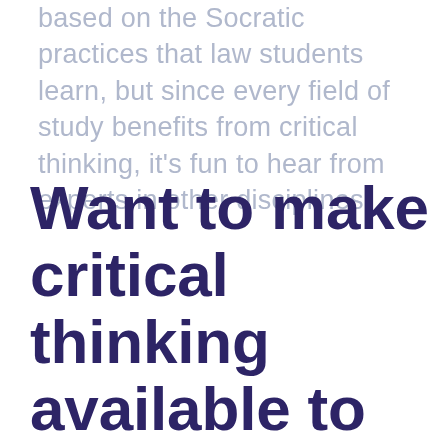based on the Socratic practices that law students learn, but since every field of study benefits from critical thinking, it's fun to hear from experts in other disciplines.
Want to make critical thinking available to your students? Download this TeachersPayTeac